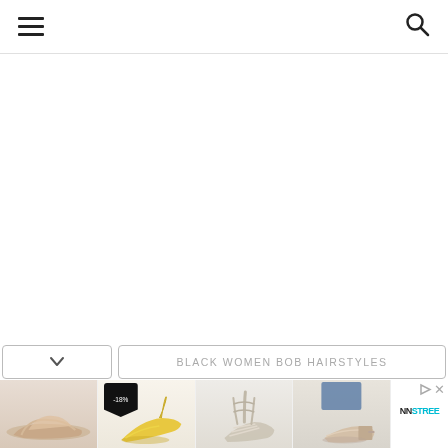Navigation header with hamburger menu and search icon
[Figure (screenshot): Large white/blank content area below navigation header]
BLACK WOMEN BOB HAIRSTYLES
[Figure (photo): Row of four shoe product images: rose gold sneakers, yellow heels with -18% discount tag, lace-up sandals, nude block heels. An advertisement panel with Nnstree logo and ad/close icons appears on the right.]